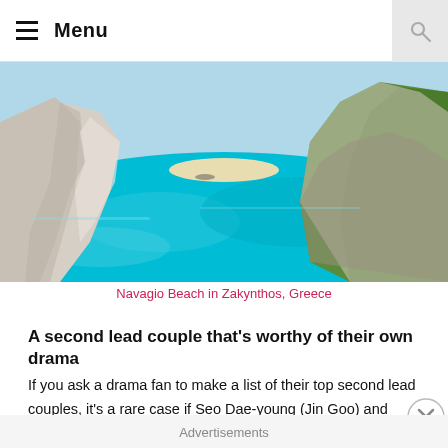Menu
[Figure (photo): Aerial view of Navagio Beach in Zakynthos, Greece — turquoise water surrounded by tall white limestone cliffs with green vegetation on the right cliff]
Navagio Beach in Zakynthos, Greece
A second lead couple that's worthy of their own drama
If you ask a drama fan to make a list of their top second lead couples, it's a rare case if Seo Dae-young (Jin Goo) and Yoon Myeong-ju's (Kim Ji-won) love stor
Advertisements